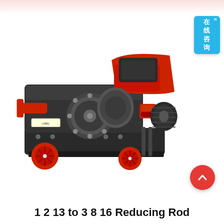[Figure (photo): Industrial rebar cutting/reducing machine with red and black body, red wheels, red motor cover on top, electric motor on right side, mounted on a frame with castors. The machine is photographed on a white background.]
1 2 13 to 3 8 16 Reducing Rod